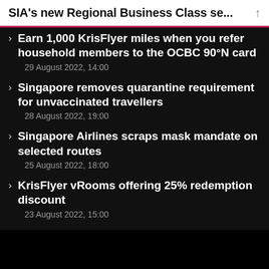SIA's new Regional Business Class se...
Earn 1,000 KrisFlyer miles when you refer household members to the OCBC 90°N card
Singapore removes quarantine requirement for unvaccinated travellers
Singapore Airlines scraps mask mandate on selected routes
KrisFlyer vRooms offering 25% redemption discount